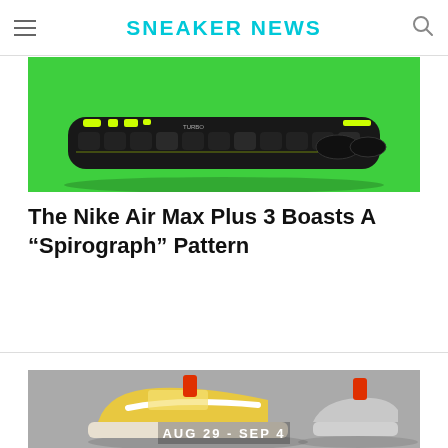SNEAKER NEWS
[Figure (photo): Nike Air Max Plus 3 sneaker on a bright green background, showing the bottom/sole detail of a black sneaker with neon yellow accents]
The Nike Air Max Plus 3 Boasts A “Spirograph” Pattern
[Figure (photo): Nike sneakers on a gray background with orange pull tabs, showing two shoes. Text overlay reads AUG 29 - SEP 4]